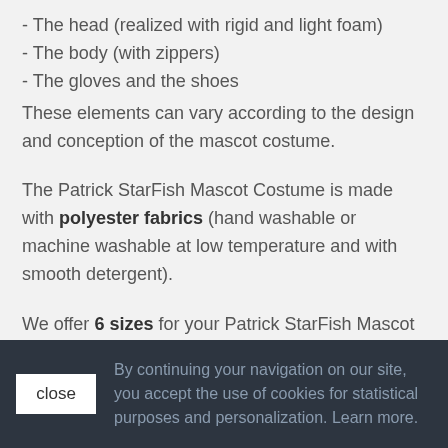- The head (realized with rigid and light foam)
- The body (with zippers)
- The gloves and the shoes
These elements can vary according to the design and conception of the mascot costume.
The Patrick StarFish Mascot Costume is made with polyester fabrics (hand washable or machine washable at low temperature and with smooth detergent).
We offer 6 sizes for your Patrick StarFish Mascot Costume : S, M, L, XL, 2XL and 3XL.
See our size guide here: Size guide.
To improve the comfort in the mascot and regulate
By continuing your navigation on our site, you accept the use of cookies for statistical purposes and personalization. Learn more.